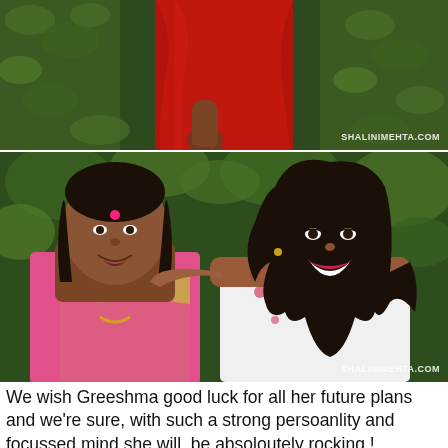[Figure (photo): Top portion of a person wearing a red draped garment, showing torso and hand, with green leafy background. Watermark: SHALINIMEHTA.COM]
[Figure (photo): Two Indian women smiling together outdoors against green foliage. The older woman on the left wears a pink and gold saree with a bindi and gold necklace. The younger woman on the right has long wavy hair and wears a white floral top. Watermark: SHALINIMEHTA.COM]
We wish Greeshma good luck for all her future plans and we're sure, with such a strong persoanlity and focussed mind she will  be absoloutely rocking !